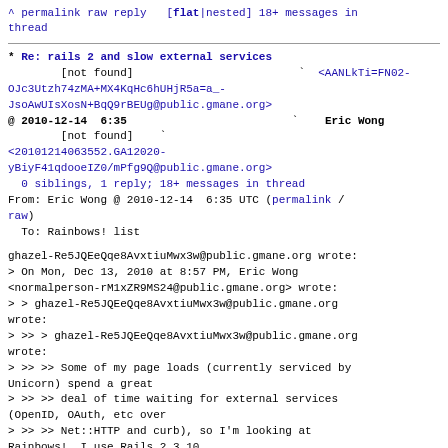^ permalink raw reply [flat|nested] 18+ messages in thread
* Re: rails 2 and slow external services
        [not found]  `  <AANLkTi=FN02-OJc3Utzh74zMA+MX4KqHc6hUHjR5a=a_-JsoAwUIsXosN+BqQ9rBEUg@public.gmane.org>
@ 2010-12-14  6:35           `  Eric Wong
        [not found]  `
<20101214063552.GA12020-yBiyF41qdooeIZ0/mPfg9Q@public.gmane.org>
  0 siblings, 1 reply; 18+ messages in thread
From: Eric Wong @ 2010-12-14  6:35 UTC (permalink / raw)
To: Rainbows! list
ghazel-Re5JQEeQqe8AvxtiuMwx3w@public.gmane.org wrote:
> On Mon, Dec 13, 2010 at 8:57 PM, Eric Wong
<normalperson-rM1xZR9MS24@public.gmane.org> wrote:
> > ghazel-Re5JQEeQqe8AvxtiuMwx3w@public.gmane.org wrote:
> >> > ghazel-Re5JQEeQqe8AvxtiuMwx3w@public.gmane.org wrote:
> >> >> Some of my page loads (currently serviced by Unicorn) spend a great
> >> >> deal of time waiting for external services (OpenID, OAuth, etc over
> >> >> Net::HTTP and curb), so I'm looking at Rainbows!. I use Rails 2.3.10.